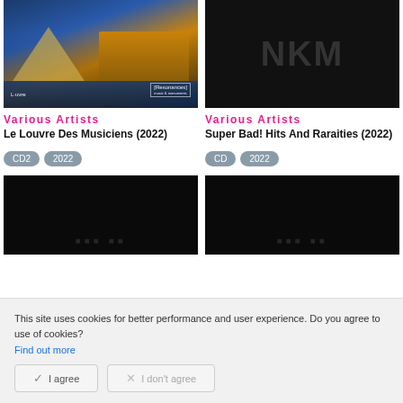[Figure (photo): Album cover for Le Louvre Des Musiciens - photo of the Louvre museum at night with pyramid and building lit in gold]
[Figure (photo): Dark album cover with large text NKM in dark grey on black background]
Various Artists
Le Louvre Des Musiciens (2022)
CD2
2022
Various Artists
Super Bad! Hits And Raraities (2022)
CD
2022
[Figure (photo): Dark black album cover with faint logo text]
[Figure (photo): Dark black album cover with faint logo text]
This site uses cookies for better performance and user experience. Do you agree to use of cookies?
Find out more
I agree
I don't agree